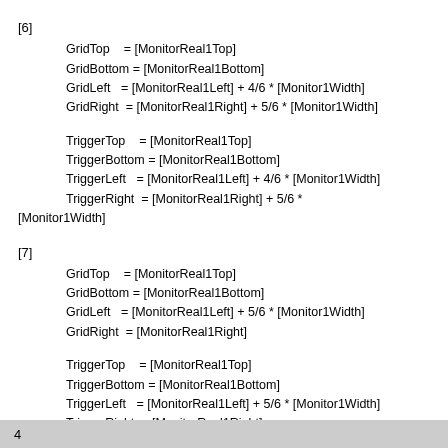[6]
    GridTop    = [MonitorReal1Top]
    GridBottom = [MonitorReal1Bottom]
    GridLeft   = [MonitorReal1Left] + 4/6 * [Monitor1Width]
    GridRight  = [MonitorReal1Right] + 5/6 * [Monitor1Width]

    TriggerTop    = [MonitorReal1Top]
    TriggerBottom = [MonitorReal1Bottom]
    TriggerLeft   = [MonitorReal1Left] + 4/6 * [Monitor1Width]
    TriggerRight  = [MonitorReal1Right] + 5/6 *
[Monitor1Width]
[7]
    GridTop    = [MonitorReal1Top]
    GridBottom = [MonitorReal1Bottom]
    GridLeft   = [MonitorReal1Left] + 5/6 * [Monitor1Width]
    GridRight  = [MonitorReal1Right]

    TriggerTop    = [MonitorReal1Top]
    TriggerBottom = [MonitorReal1Bottom]
    TriggerLeft   = [MonitorReal1Left] + 5/6 * [Monitor1Width]
    TriggerRight  = [MonitorReal1Right]
4